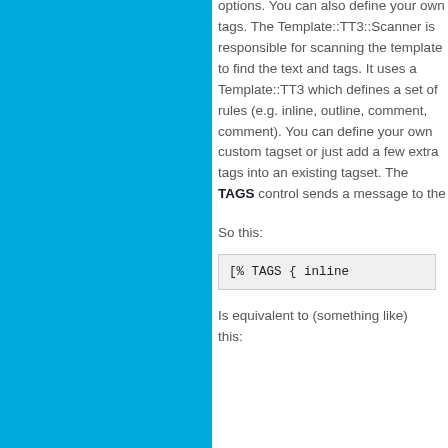options. You can also define your own tags. The Template::TT3::Scanner is responsible for scanning the template to find the text and tags. It uses a Template::TT3 grammar which defines a set of rules (e.g. inline, outline, comment). You can define your own custom tagset or just add a few extra tags into an existing tagset. The TAGS control sends a message to the...
So this:
[% TAGS { inline
Is equivalent to (something like) this: